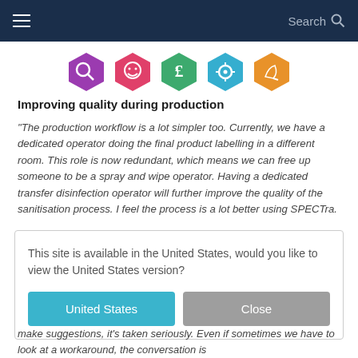Search
[Figure (illustration): Row of five colored hexagonal icons: purple (magnifying glass), pink (smiley face), green (pound sign), blue (gear/settings), orange (signature/writing)]
Improving quality during production
“The production workflow is a lot simpler too. Currently, we have a dedicated operator doing the final product labelling in a different room. This role is now redundant, which means we can free up someone to be a spray and wipe operator. Having a dedicated transfer disinfection operator will further improve the quality of the sanitisation process. I feel the process is a lot better using SPECTra.
This site is available in the United States, would you like to view the United States version?
make suggestions, it’s taken seriously. Even if sometimes we have to look at a workaround, the conversation is